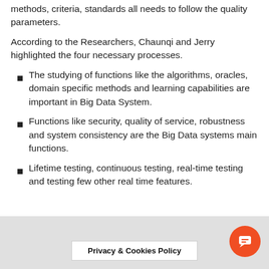methods, criteria, standards all needs to follow the quality parameters.
According to the Researchers, Chaunqi and Jerry highlighted the four necessary processes.
The studying of functions like the algorithms, oracles, domain specific methods and learning capabilities are important in Big Data System.
Functions like security, quality of service, robustness and system consistency are the Big Data systems main functions.
Lifetime testing, continuous testing, real-time testing and testing few other real time features.
Privacy & Cookies Policy